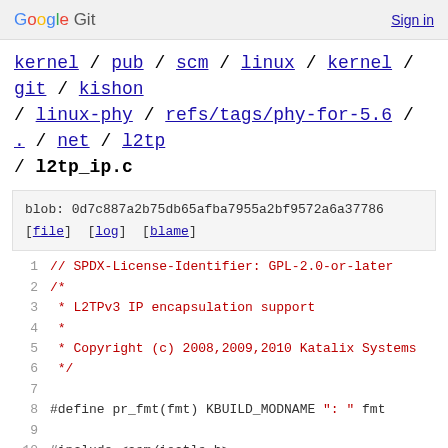Google Git   Sign in
kernel / pub / scm / linux / kernel / git / kishon / linux-phy / refs/tags/phy-for-5.6 / . / net / l2tp / l2tp_ip.c
blob: 0d7c887a2b75db65afba7955a2bf9572a6a37786
[file] [log] [blame]
1    // SPDX-License-Identifier: GPL-2.0-or-later
2    /*
3     * L2TPv3 IP encapsulation support
4     *
5     * Copyright (c) 2008,2009,2010 Katalix Systems
6     */
7
8    #define pr_fmt(fmt) KBUILD_MODNAME ": " fmt
9
10   #include <asm/ioctls.h>